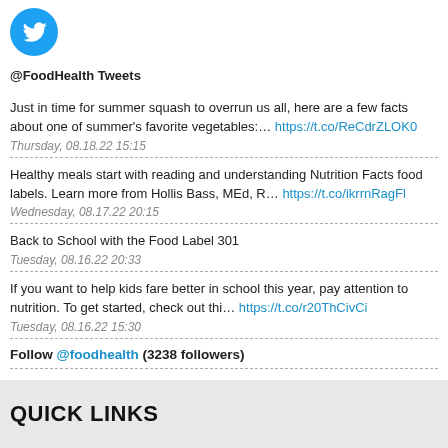[Figure (logo): Twitter bird logo in blue circle]
@FoodHealth Tweets
Just in time for summer squash to overrun us all, here are a few facts about one of summer's favorite vegetables:… https://t.co/ReCdrZLOK0
Thursday, 08.18.22 15:15
Healthy meals start with reading and understanding Nutrition Facts food labels. Learn more from Hollis Bass, MEd, R… https://t.co/ikrrnRagFl
Wednesday, 08.17.22 20:15
Back to School with the Food Label 301
Tuesday, 08.16.22 20:33
If you want to help kids fare better in school this year, pay attention to nutrition. To get started, check out thi… https://t.co/r20ThCivCi
Tuesday, 08.16.22 15:30
Follow @foodhealth (3238 followers)
QUICK LINKS